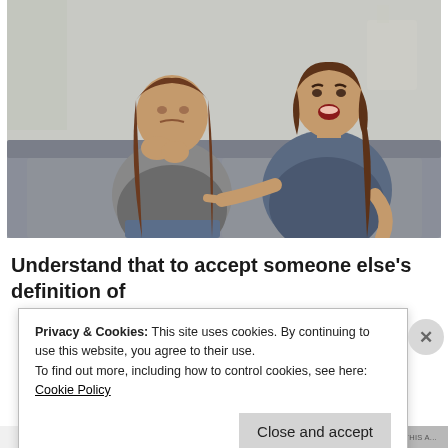[Figure (photo): Two women sitting on a grey couch. One woman on the left looks distressed, hunching forward with hands clasped near her face. The woman on the right is leaning toward her, pointing a finger and appearing to shout, mouth open aggressively.]
Understand that to accept someone else's definition of
Privacy & Cookies: This site uses cookies. By continuing to use this website, you agree to their use.
To find out more, including how to control cookies, see here: Cookie Policy
Close and accept